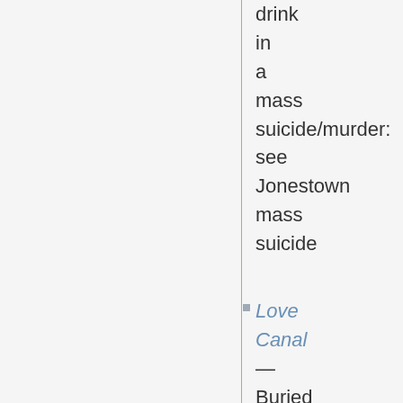drink
in
a
mass
suicide/murder:
see
Jonestown
mass
suicide
Love Canal — Buried toxic waste